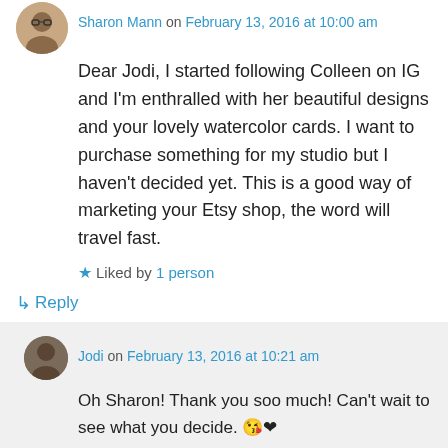Sharon Mann on February 13, 2016 at 10:00 am
Dear Jodi, I started following Colleen on IG and I'm enthralled with her beautiful designs and your lovely watercolor cards. I want to purchase something for my studio but I haven't decided yet. This is a good way of marketing your Etsy shop, the word will travel fast.
Liked by 1 person
↳ Reply
Jodi on February 13, 2016 at 10:21 am
Oh Sharon! Thank you soo much! Can't wait to see what you decide. 😘❤